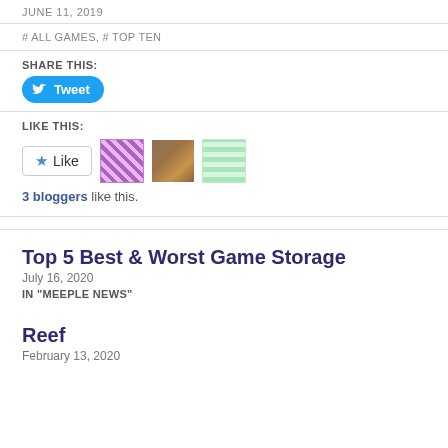JUNE 11, 2019
# ALL GAMES, # TOP TEN
SHARE THIS:
[Figure (screenshot): Twitter Tweet button (blue rounded rectangle with bird icon and 'Tweet' text)]
LIKE THIS:
[Figure (screenshot): WordPress Like button with star icon, and three blogger avatar thumbnails]
3 bloggers like this.
Top 5 Best & Worst Game Storage
July 16, 2020
IN "MEEPLE NEWS"
Reef
February 13, 2020